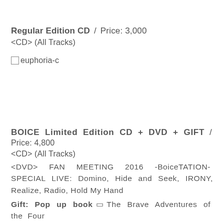■ Regular Edition CD  /  Price: 3,000
<CD> (All Tracks)
☐ euphoria-c
■  BOICE  Limited  Edition  CD  +  DVD  +  GIFT  /
Price: 4,800
<CD> (All Tracks)
<DVD>  FAN  MEETING  2016  -BoiceTATION-  SPECIAL LIVE: Domino, Hide and Seek, IRONY, Realize, Radio, Hold My Hand
Gift: Pop up book ▯ The Brave Adventures of the Four